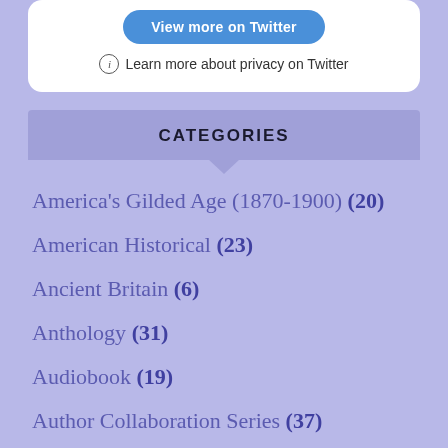[Figure (screenshot): Twitter embedded widget partial view showing 'View more on Twitter' button and privacy link]
ⓘ Learn more about privacy on Twitter
CATEGORIES
America's Gilded Age (1870-1900) (20)
American Historical (23)
Ancient Britain (6)
Anthology (31)
Audiobook (19)
Author Collaboration Series (37)